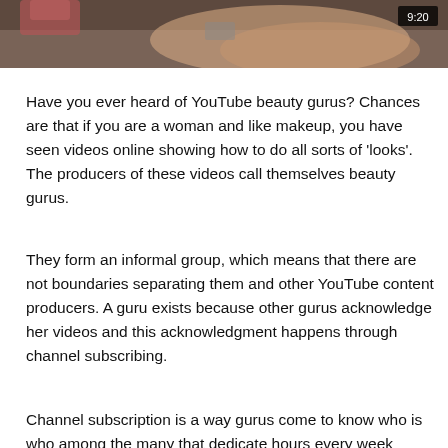[Figure (screenshot): A partial screenshot of a YouTube video showing a close-up of a person's face/neck area, with a video timestamp of 9:20 visible in the top right corner.]
Have you ever heard of YouTube beauty gurus? Chances are that if you are a woman and like makeup, you have seen videos online showing how to do all sorts of 'looks'. The producers of these videos call themselves beauty gurus.
They form an informal group, which means that there are not boundaries separating them and other YouTube content producers. A guru exists because other gurus acknowledge her videos and this acknowledgment happens through channel subscribing.
Channel subscription is a way gurus come to know who is who among the many that dedicate hours every week...